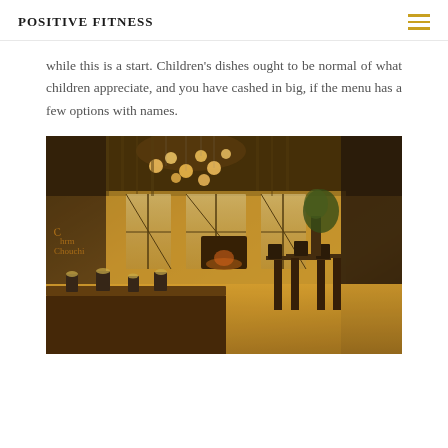POSITIVE FITNESS
while this is a start. Children's dishes ought to be normal of what children appreciate, and you have cashed in big, if the menu has a few options with names.
[Figure (photo): Interior of an upscale restaurant with warm amber lighting, decorative chandelier with globe lights, large windows with view to exterior, dining tables set with cutlery, dark furniture, and a fireplace in the background.]